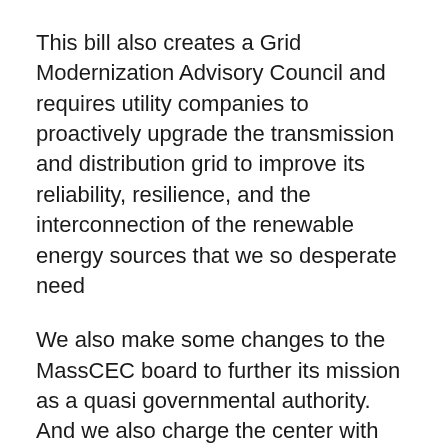This bill also creates a Grid Modernization Advisory Council and requires utility companies to proactively upgrade the transmission and distribution grid to improve its reliability, resilience, and the interconnection of the renewable energy sources that we so desperate need
We also make some changes to the MassCEC board to further its mission as a quasi governmental authority. And we also charge the center with serving as a focal point and providing state-wide coordination for offshore wind initiatives to bring more continuity to our state efforts
We also create a very small surcharge on natural gas bills, which will be deposited into the MA Renewable Energy Trust Fund to make necessary investments in clean energy technology, so that we can meet our 2050 carbon emissions goals. While we can review and to...